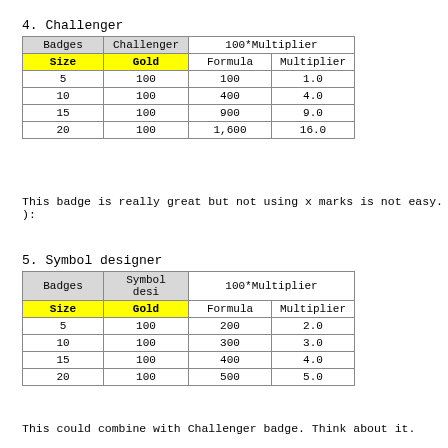4. Challenger
| Badges | Challenger | 100*Multiplier |  |
| --- | --- | --- | --- |
| Size | Gold | Formula | Multiplier |
| 5 | 100 | 100 | 1.0 |
| 10 | 100 | 400 | 4.0 |
| 15 | 100 | 900 | 9.0 |
| 20 | 100 | 1,600 | 16.0 |
This badge is really great but not using x marks is not easy. ):
5. Symbol designer
| Badges | Symbol desi | 100*Multiplier |  |
| --- | --- | --- | --- |
| Size | Gold | Formula | Multiplier |
| 5 | 100 | 200 | 2.0 |
| 10 | 100 | 300 | 3.0 |
| 15 | 100 | 400 | 4.0 |
| 20 | 100 | 500 | 5.0 |
This could combine with Challenger badge. Think about it.